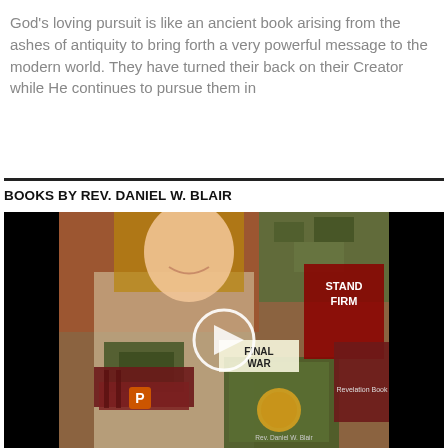God's loving pursuit is like an ancient book arising from the ashes of antiquity to bring forth a very powerful message to the modern world. They have turned their back on their Creator while He continues to pursue them in
BOOKS BY REV. DANIEL W. BLAIR
[Figure (photo): A smiling woman holding several books by Rev. Daniel W. Blair, including titles visible as 'STAND FIRM' and 'FINAL WAR'. A video play button circle is overlaid in the center of the image. Books are spread around her including camouflage-covered ones and dark red/maroon covered books. The image has black bars on the left and right sides.]